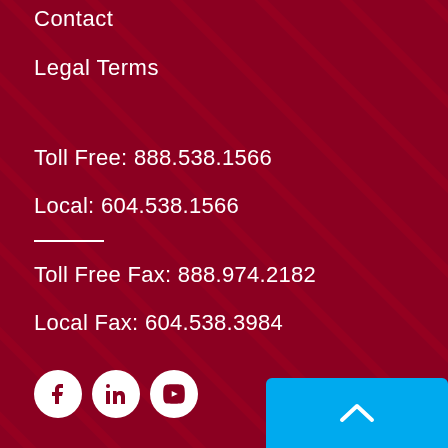Contact
Legal Terms
Toll Free: 888.538.1566
Local: 604.538.1566
Toll Free Fax: 888.974.2182
Local Fax: 604.538.3984
[Figure (illustration): Social media icons: Facebook, LinkedIn, YouTube in white circles on dark red background]
[Figure (illustration): Blue button with upward chevron arrow at bottom right]